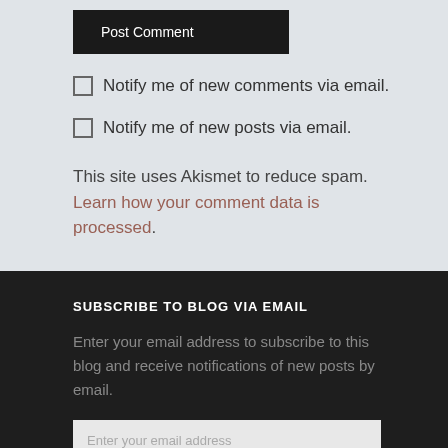Post Comment
Notify me of new comments via email.
Notify me of new posts via email.
This site uses Akismet to reduce spam. Learn how your comment data is processed.
SUBSCRIBE TO BLOG VIA EMAIL
Enter your email address to subscribe to this blog and receive notifications of new posts by email.
Enter your email address